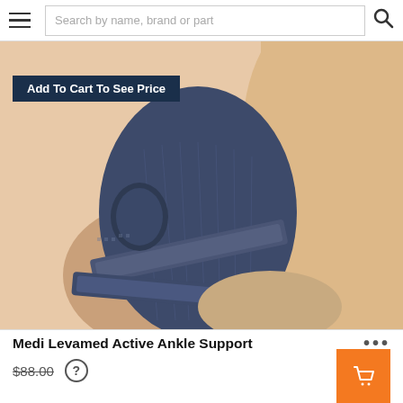Search by name, brand or part
Add To Cart To See Price
[Figure (photo): Close-up photo of a person's leg/ankle wearing a dark navy blue Medi Levamed Active Ankle Support brace with velcro straps wrapped around the ankle.]
Medi Levamed Active Ankle Support
$88.00